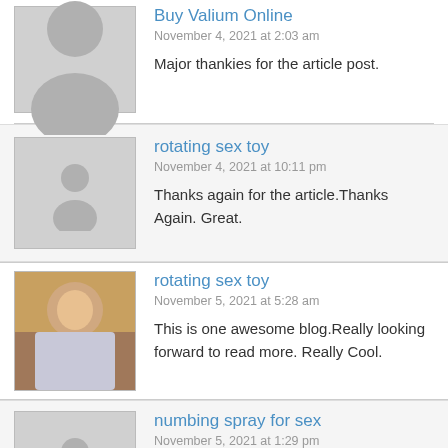Buy Valium Online
November 4, 2021 at 2:03 am
Major thankies for the article post.
rotating sex toy
November 4, 2021 at 10:11 pm
Thanks again for the article.Thanks Again. Great.
rotating sex toy
November 5, 2021 at 5:28 am
This is one awesome blog.Really looking forward to read more. Really Cool.
numbing spray for sex
November 5, 2021 at 1:29 pm
I really liked your post.Really looking forward to read more. Will read on…